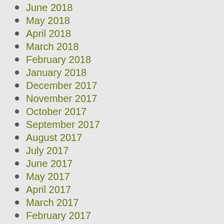June 2018
May 2018
April 2018
March 2018
February 2018
January 2018
December 2017
November 2017
October 2017
September 2017
August 2017
July 2017
June 2017
May 2017
April 2017
March 2017
February 2017